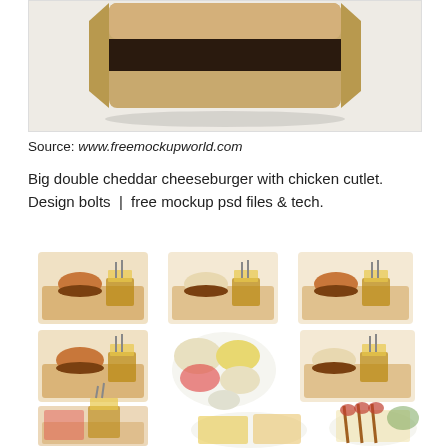[Figure (photo): Top portion of a food packaging mockup on a light gray background — a wrapped sandwich/burger package viewed from above, with a dark band around the middle.]
Source: www.freemockupworld.com
Big double cheddar cheeseburger with chicken cutlet. Design bolts | free mockup psd files & tech.
[Figure (photo): Grid of 8 food photos: multiple burgers served on wooden boards with metal baskets of french fries, a plate with salads and side dishes, and plates with grilled meats, fries, and kebabs on white plates.]